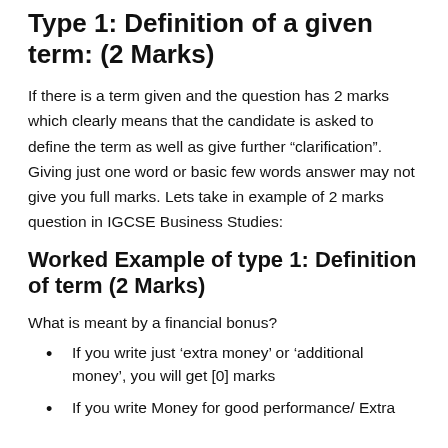Type 1: Definition of a given term: (2 Marks)
If there is a term given and the question has 2 marks which clearly means that the candidate is asked to define the term as well as give further “clarification”. Giving just one word or basic few words answer may not give you full marks. Lets take in example of 2 marks question in IGCSE Business Studies:
Worked Example of type 1: Definition of term (2 Marks)
What is meant by a financial bonus?
If you write just ‘extra money’ or ‘additional money’, you will get [0] marks
If you write Money for good performance/ Extra